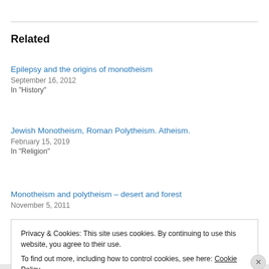Related
Epilepsy and the origins of monotheism
September 16, 2012
In "History"
Jewish Monotheism, Roman Polytheism. Atheism.
February 15, 2019
In "Religion"
Monotheism and polytheism – desert and forest
November 5, 2011
Privacy & Cookies: This site uses cookies. By continuing to use this website, you agree to their use. To find out more, including how to control cookies, see here: Cookie Policy